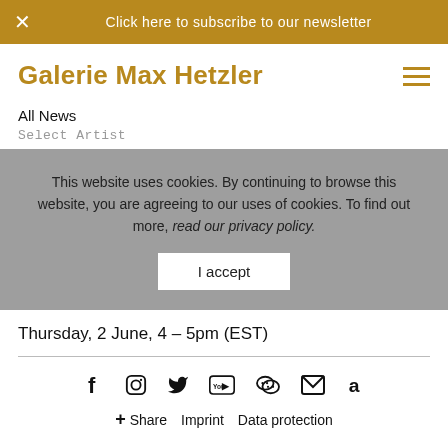Click here to subscribe to our newsletter
Galerie Max Hetzler
All News
Select Artist
This website uses cookies. By continuing to browse this website, you are agreeing to our uses of cookies. To find out more, read our privacy policy.
I accept
Thursday, 2 June, 4 – 5pm (EST)
Share  Imprint  Data protection